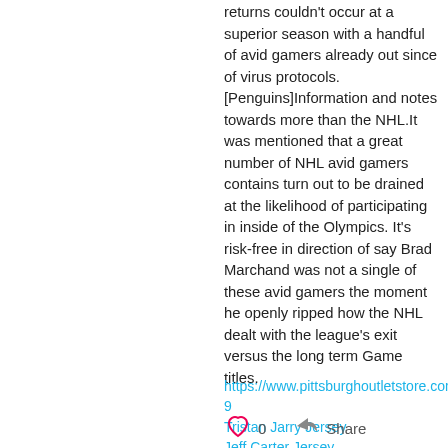returns couldn't occur at a superior season with a handful of avid gamers already out since of virus protocols. [Penguins]Information and notes towards more than the NHL.It was mentioned that a great number of NHL avid gamers contains turn out to be drained at the likelihood of participating in inside of the Olympics. It's risk-free in direction of say Brad Marchand was not a single of these avid gamers the moment he openly ripped how the NHL dealt with the league's exit versus the long term Game titles.
https://www.pittsburghoutletstore.com/Evgeni_Malkin_Jersey-9
Tristan Jarry Jersey
Jeff Carter Jersey
0  Share